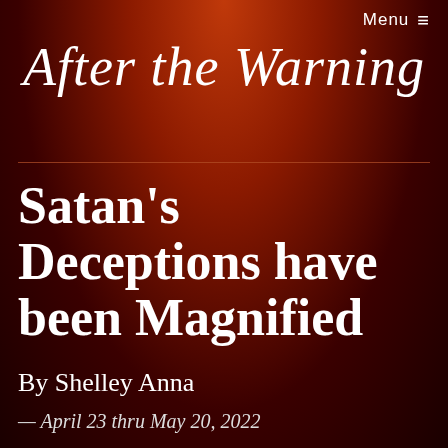Menu ≡
After the Warning
Satan's Deceptions have been Magnified
By Shelley Anna
— April 23 thru May 20, 2022